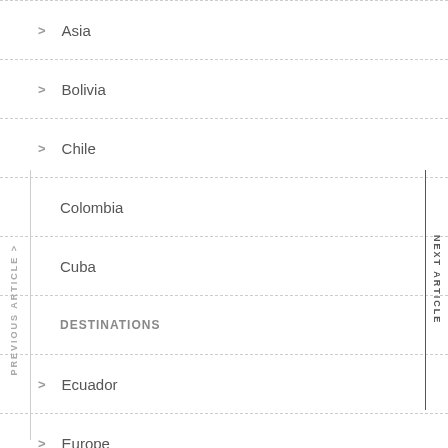> Asia
> Bolivia
> Chile
Colombia
Cuba
DESTINATIONS
> Ecuador
> Europe
> Hong Kong